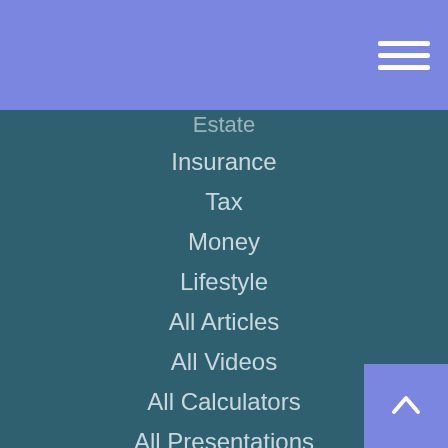Navigation menu header with hamburger icon
Estate
Insurance
Tax
Money
Lifestyle
All Articles
All Videos
All Calculators
All Presentations
Check the background of your financial professional on FINRA's BrokerCheck.
The content is developed from sources believed to be providing accurate information. The information in this material is not intended as tax or legal advice. Please consult legal or tax professionals for specific information regarding your individual situation. Some of this material was developed and produced by FMG Suite to provide information on a topic that may be of interest. FMG Suite is not affiliated with the named representative, broker - dealer, state - or SEC - registered investment